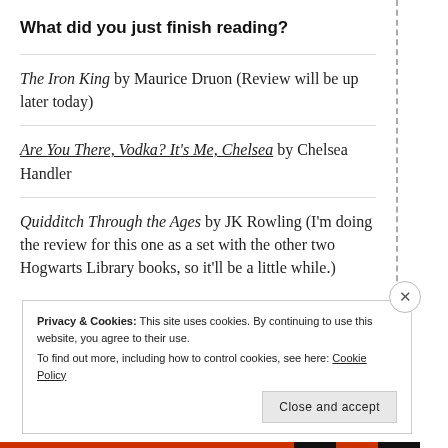What did you just finish reading?
The Iron King by Maurice Druon (Review will be up later today)
Are You There, Vodka? It's Me, Chelsea by Chelsea Handler
Quidditch Through the Ages by JK Rowling (I'm doing the review for this one as a set with the other two Hogwarts Library books, so it'll be a little while.)
Privacy & Cookies: This site uses cookies. By continuing to use this website, you agree to their use. To find out more, including how to control cookies, see here: Cookie Policy
Close and accept